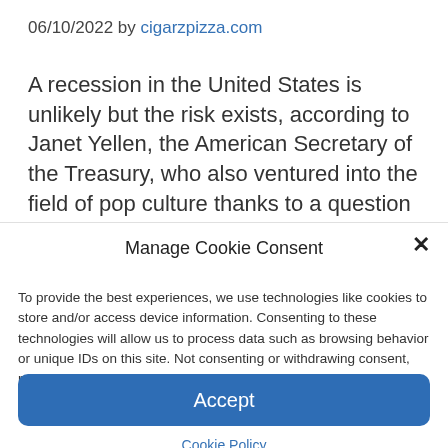06/10/2022 by cigarzpizza.com
A recession in the United States is unlikely but the risk exists, according to Janet Yellen, the American Secretary of the Treasury, who also ventured into the field of pop culture thanks to a question about the rapper Cardi
Manage Cookie Consent
To provide the best experiences, we use technologies like cookies to store and/or access device information. Consenting to these technologies will allow us to process data such as browsing behavior or unique IDs on this site. Not consenting or withdrawing consent, may adversely affect certain features and functions.
Accept
Cookie Policy